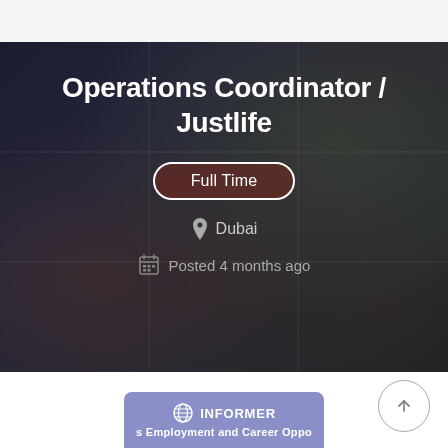Operations Coordinator / Justlife
Full Time
Dubai
Posted 4 months ago
[Figure (infographic): Informer logo bar with text 's Employment and Career Oppo']